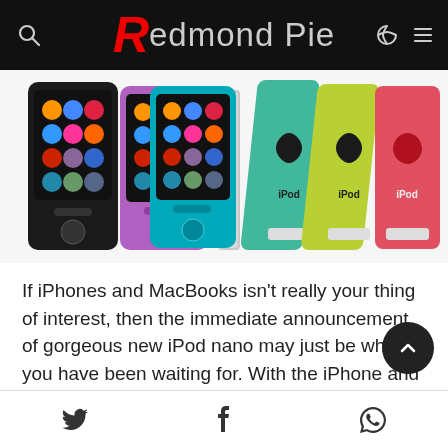Redmond Pie
[Figure (photo): Multiple iPod nano devices in various colors (black, purple, blue/teal, silver, green, yellow-green, pink/red) shown from front and back angles]
If iPhones and MacBooks isn't really your thing of interest, then the immediate announcement of gorgeous new iPod nano may just be what you have been waiting for. With the iPhone and iPad having access to services like iTunes M... and having fairly powerful Music apps built in, the iPods have...
Twitter  Facebook  WhatsApp